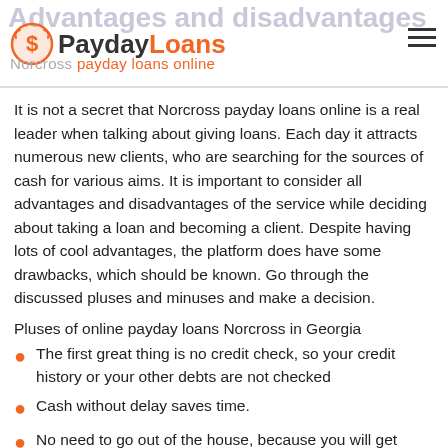Advantages and disadvantages of Norcross payday loans online
It is not a secret that Norcross payday loans online is a real leader when talking about giving loans. Each day it attracts numerous new clients, who are searching for the sources of cash for various aims. It is important to consider all advantages and disadvantages of the service while deciding about taking a loan and becoming a client. Despite having lots of cool advantages, the platform does have some drawbacks, which should be known. Go through the discussed pluses and minuses and make a decision.
Pluses of online payday loans Norcross in Georgia
The first great thing is no credit check, so your credit history or your other debts are not checked
Cash without delay saves time.
No need to go out of the house, because you will get